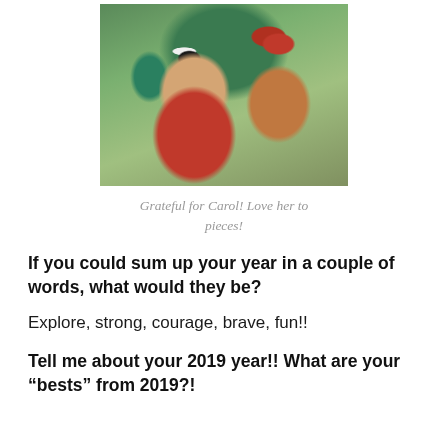[Figure (photo): A selfie photo of two smiling women outdoors. One woman on the left wears white sunglasses and a red t-shirt. The woman on the right wears a red baseball cap. Green foliage visible in background.]
Grateful for Carol! Love her to pieces!
If you could sum up your year in a couple of words, what would they be?
Explore, strong, courage, brave, fun!!
Tell me about your 2019 year!! What are your “bests” from 2019?!